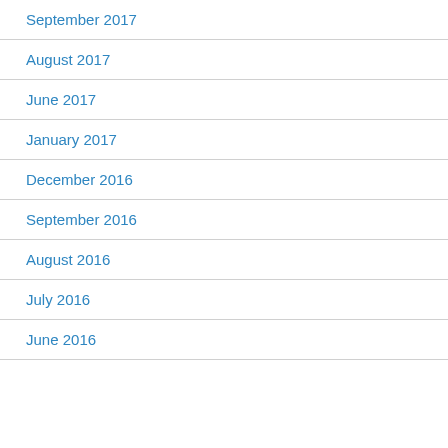September 2017
August 2017
June 2017
January 2017
December 2016
September 2016
August 2016
July 2016
June 2016